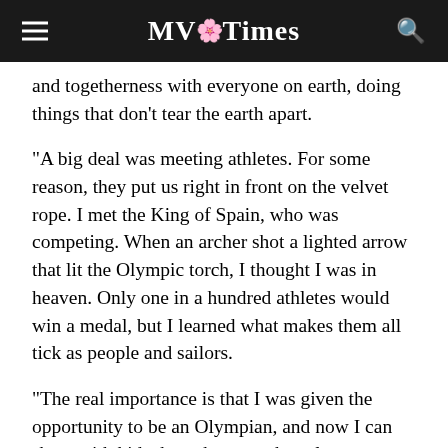MV Times
and togetherness with everyone on earth, doing things that don’t tear the earth apart.
“A big deal was meeting athletes. For some reason, they put us right in front on the velvet rope. I met the King of Spain, who was competing. When an archer shot a lighted arrow that lit the Olympic torch, I thought I was in heaven. Only one in a hundred athletes would win a medal, but I learned what makes them all tick as people and sailors.
“The real importance is that I was given the opportunity to be an Olympian, and now I can share with kids that whatever obstacles you have, continue to work hard,” he